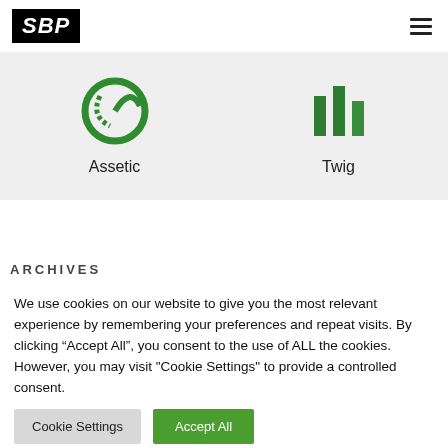[Figure (logo): SBP logo in black box with white italic bold text]
[Figure (logo): Assetic logo - green circular icon partially visible]
Assetic
[Figure (logo): Twig logo - green icon partially visible]
Twig
ARCHIVES
We use cookies on our website to give you the most relevant experience by remembering your preferences and repeat visits. By clicking “Accept All”, you consent to the use of ALL the cookies. However, you may visit "Cookie Settings" to provide a controlled consent.
Cookie Settings
Accept All